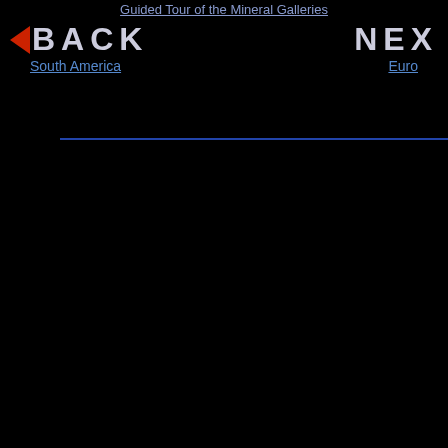Guided Tour of the Mineral Galleries
◄ BACK   South America
NEX   Euro